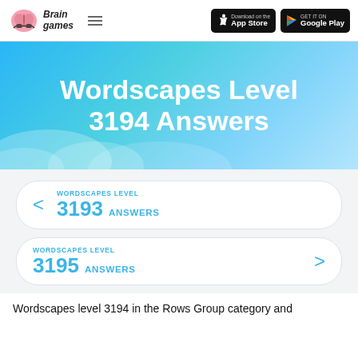Brain Games — App Store — Google Play
Wordscapes Level 3194 Answers
WORDSCAPES LEVEL 3193 ANSWERS
WORDSCAPES LEVEL 3195 ANSWERS
Wordscapes level 3194 in the Rows Group category and